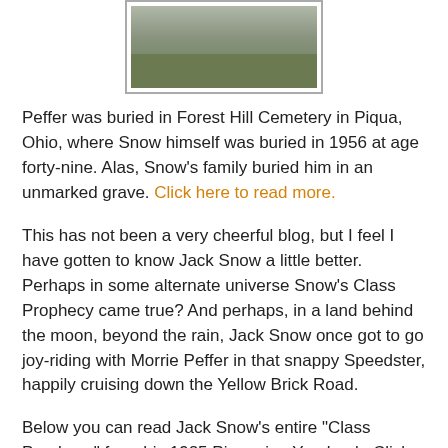[Figure (photo): Photograph of a gravestone/grave marker at Forest Hill Cemetery, showing a flat stone partially visible above ground with grass around it.]
Peffer was buried in Forest Hill Cemetery in Piqua, Ohio, where Snow himself was buried in 1956 at age forty-nine. Alas, Snow's family buried him in an unmarked grave. Click here to read more.
This has not been a very cheerful blog, but I feel I have gotten to know Jack Snow a little better. Perhaps in some alternate universe Snow's Class Prophecy came true? And perhaps, in a land behind the moon, beyond the rain, Jack Snow once got to go joy-riding with Morrie Peffer in that snappy Speedster, happily cruising down the Yellow Brick Road.
Below you can read Jack Snow's entire "Class Prophecy" from his 1925 Piquonian Yearbook. Click on the individual pages to read this very early work by the future Royal Historian of Oz.